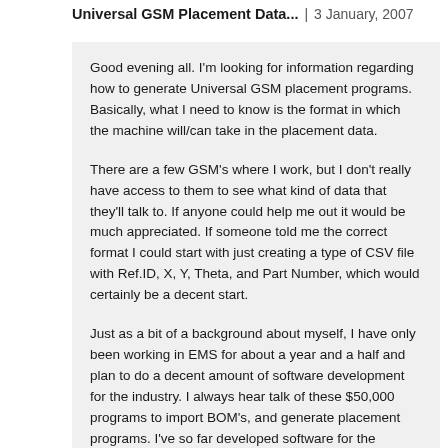Universal GSM Placement Data... | 3 January, 2007
Good evening all. I'm looking for information regarding how to generate Universal GSM placement programs. Basically, what I need to know is the format in which the machine will/can take in the placement data.
There are a few GSM's where I work, but I don't really have access to them to see what kind of data that they'll talk to. If anyone could help me out it would be much appreciated. If someone told me the correct format I could start with just creating a type of CSV file with Ref.ID, X, Y, Theta, and Part Number, which would certainly be a decent start.
Just as a bit of a background about myself, I have only been working in EMS for about a year and a half and plan to do a decent amount of software development for the industry. I always hear talk of these $50,000 programs to import BOM's, and generate placement programs. I've so far developed software for the YesTech series of AOI machines, and a BOM Importer to scrub customer BOM's for discrepancies and inject them into a database. I'm currently working on generating 4785 Chipshooter...